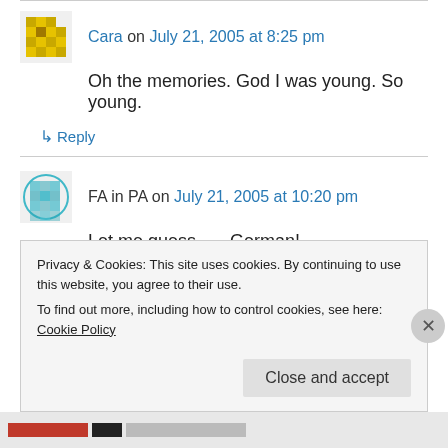Cara on July 21, 2005 at 8:25 pm
Oh the memories. God I was young. So young.
↳ Reply
FA in PA on July 21, 2005 at 10:20 pm
Let me guess —- German!
↳ Reply
Privacy & Cookies: This site uses cookies. By continuing to use this website, you agree to their use. To find out more, including how to control cookies, see here: Cookie Policy
Close and accept